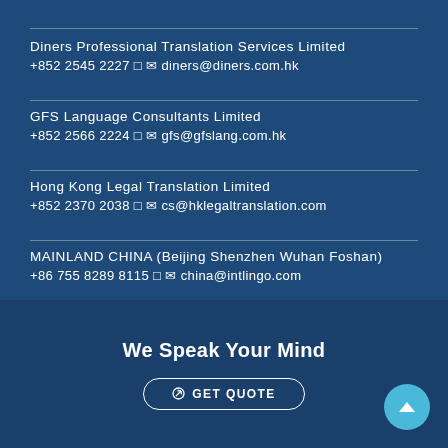Diners Professional Translation Services Limited
+852 2545 2227 □ ✉ diners@diners.com.hk
GFS Language Consultants Limited
+852 2566 2224 □ ✉ gfs@gfslang.com.hk
Hong Kong Legal Translation Limited
+852 2370 2038 □ ✉ cs@hklegaltranslation.com
MAINLAND CHINA (Beijing Shenzhen Wuhan Foshan)
+86 755 8289 8115 □ ✉ china@intlingo.com
We Speak Your Mind
🔗 GET QUOTE